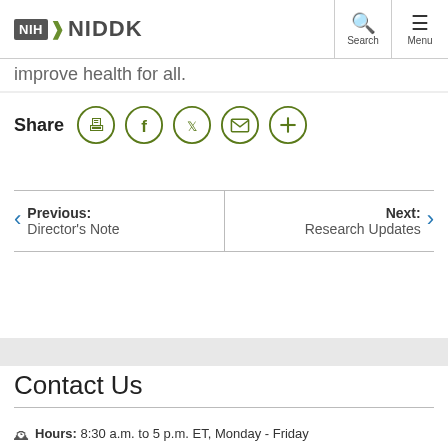[Figure (logo): NIH NIDDK logo with search and menu buttons in header]
improve health for all.
[Figure (infographic): Share icons: print, Facebook, Twitter, email, more (plus)]
Previous: Director's Note | Next: Research Updates
Contact Us
Hours: 8:30 a.m. to 5 p.m. ET, Monday - Friday